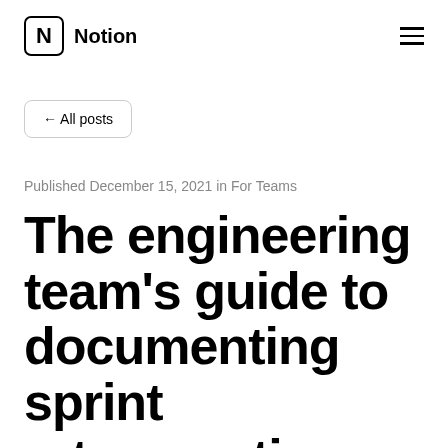Notion
← All posts
Published December 15, 2021 in For Teams
The engineering team's guide to documenting sprint retrospectives